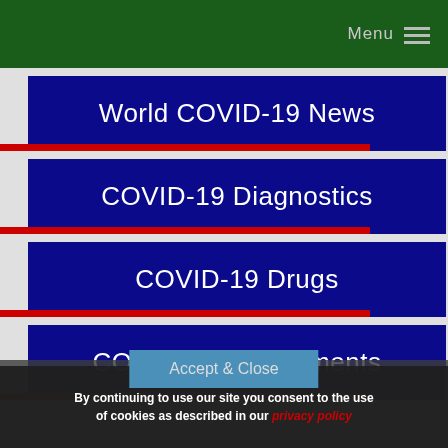Menu
World COVID-19 News
COVID-19 Diagnostics
COVID-19 Drugs
COVID-19 Supplements
COVID-19 Herbs
Accept & Close
By continuing to use our site you consent to the use of cookies as described in our privacy policy